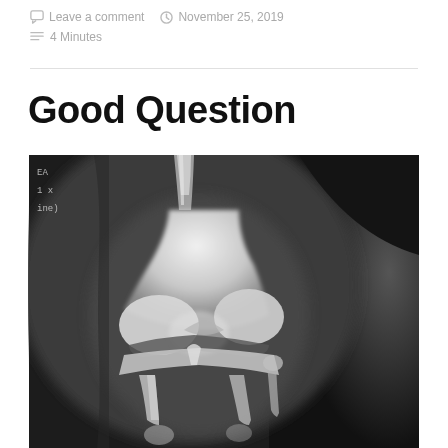Leave a comment   November 25, 2019   4 Minutes
Good Question
[Figure (photo): X-ray image of a knee joint showing frontal (AP) view with bone structures visible including femur, tibia, and fibula. Small text annotations visible in upper left corner reading 'EA', '1 x', 'ine)'.]